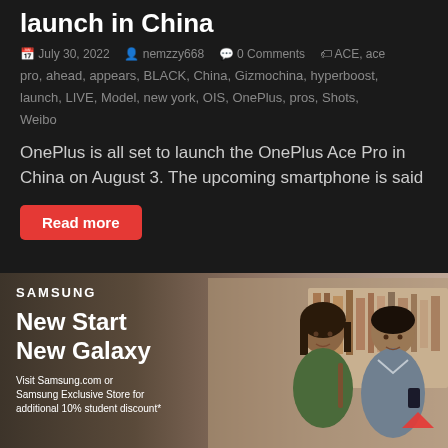launch in China
July 30, 2022   nemzzy668   0 Comments   ACE, ace pro, ahead, appears, BLACK, China, Gizmochina, hyperboost, launch, LIVE, Model, new york, OIS, OnePlus, pros, Shots, Weibo
OnePlus is all set to launch the OnePlus Ace Pro in China on August 3. The upcoming smartphone is said
Read more
[Figure (photo): Samsung advertisement banner showing 'New Start New Galaxy' with two young people (a woman and a man) in a library setting. Text: Visit Samsung.com or Samsung Exclusive Store for additional 10% student discount*]